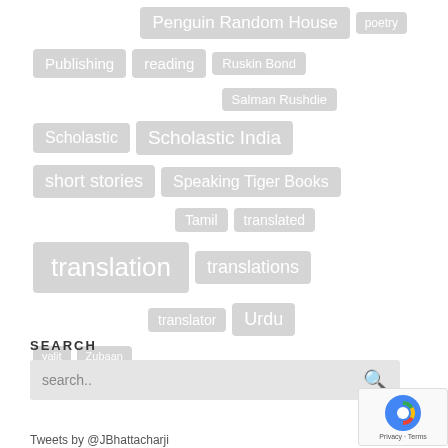[Figure (other): Tag cloud with publishing/literature related tags: Penguin Random House, poetry, Publishing, reading, Ruskin Bond, Salman Rushdie, Scholastic, Scholastic India, short stories, Speaking Tiger Books, Tamil, translated, translation, translations, translator, Urdu, valit, Zubaan]
SEARCH
search..
Tweets by @JBhattacharji